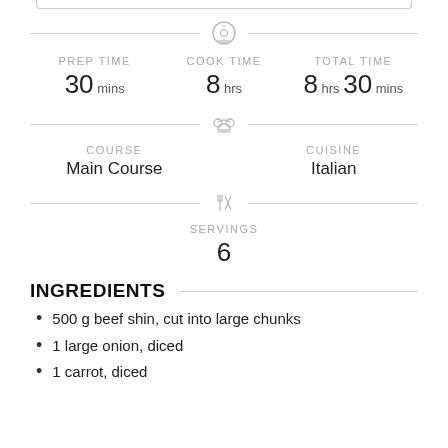PREP TIME 30 mins | COOK TIME 8 hrs | TOTAL TIME 8 hrs 30 mins
COURSE Main Course | CUISINE Italian
SERVINGS 6
INGREDIENTS
500 g beef shin, cut into large chunks
1 large onion, diced
1 carrot, diced